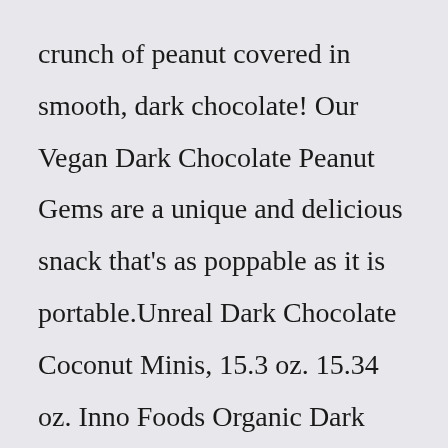crunch of peanut covered in smooth, dark chocolate! Our Vegan Dark Chocolate Peanut Gems are a unique and delicious snack that's as poppable as it is portable.Unreal Dark Chocolate Coconut Minis, 15.3 oz. 15.34 oz. Inno Foods Organic Dark Chocolate Keto Nuggets 16 Oz ... Kirkland Signature Chocolate Covered Raisins, 54 oz. 54 oz. Chocxo Organic Chocolate Keto Snaps, 30 x .5 oz ...